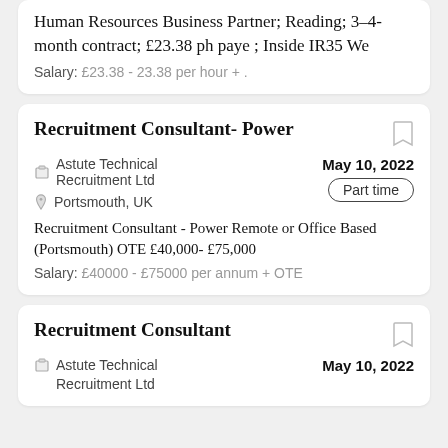Human Resources Business Partner; Reading; 3–4-month contract; £23.38 ph paye ; Inside IR35 We
Salary: £23.38 - 23.38 per hour +.
Recruitment Consultant- Power
Astute Technical Recruitment Ltd
Portsmouth, UK
May 10, 2022
Part time
Recruitment Consultant - Power Remote or Office Based (Portsmouth) OTE £40,000- £75,000
Salary: £40000 - £75000 per annum + OTE
Recruitment Consultant
Astute Technical Recruitment Ltd
May 10, 2022